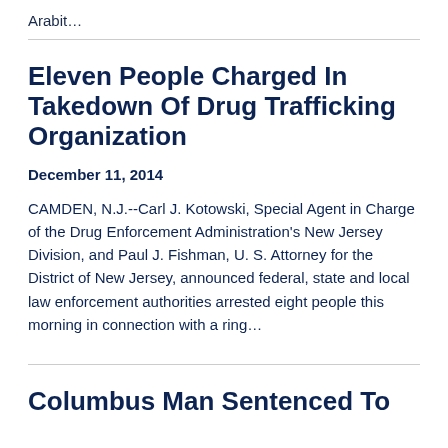Arabit...
Eleven People Charged In Takedown Of Drug Trafficking Organization
December 11, 2014
CAMDEN, N.J.--Carl J. Kotowski, Special Agent in Charge of the Drug Enforcement Administration's New Jersey Division, and Paul J. Fishman, U. S. Attorney for the District of New Jersey, announced federal, state and local law enforcement authorities arrested eight people this morning in connection with a ring...
Columbus Man Sentenced To